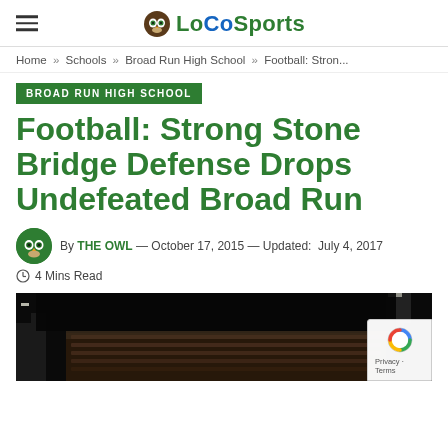LoCoSports
Home » Schools » Broad Run High School » Football: Stron...
BROAD RUN HIGH SCHOOL
Football: Strong Stone Bridge Defense Drops Undefeated Broad Run
By THE OWL — October 17, 2015 — Updated: July 4, 2017
4 Mins Read
[Figure (photo): Dark stadium photo showing crowd in bleachers at a nighttime football game]